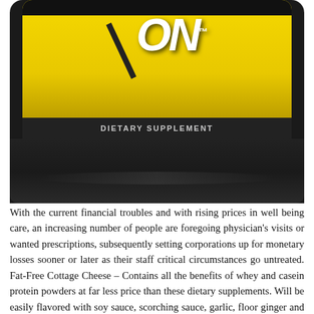[Figure (photo): Top portion of an Optimum Nutrition (ON) dietary supplement container. Black container with yellow label showing 'ON' logo in white italic letters with a trademark symbol. Below the logo text reads 'DIETARY SUPPLEMENT' in gray letters on a dark band.]
With the current financial troubles and with rising prices in well being care, an increasing number of people are foregoing physician's visits or wanted prescriptions, subsequently setting corporations up for monetary losses sooner or later as their staff critical circumstances go untreated. Fat-Free Cottage Cheese – Contains all the benefits of whey and casein protein powders at far less price than these dietary supplements. Will be easily flavored with soy sauce, scorching sauce, garlic, floor ginger and contemporary chives to make a tasty facet dish or midday snack. Fresh fruit is also a superb complement to cottage cheese, but avoid the canned fruits in heavy syrup. To realize wellness one wants to achieve a healthy